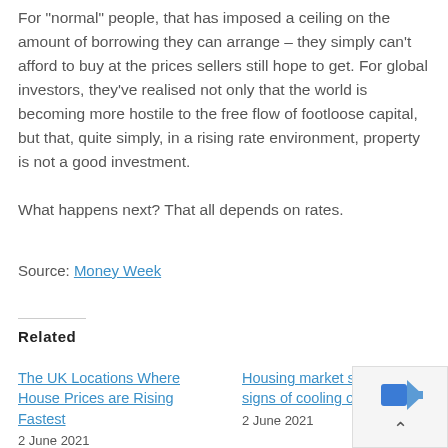For "normal" people, that has imposed a ceiling on the amount of borrowing they can arrange – they simply can't afford to buy at the prices sellers still hope to get. For global investors, they've realised not only that the world is becoming more hostile to the free flow of footloose capital, but that, quite simply, in a rising rate environment, property is not a good investment.
What happens next? That all depends on rates.
Source: Money Week
Related
The UK Locations Where House Prices are Rising Fastest
2 June 2021
Housing market shows 'no signs of cooling off'
2 June 2021